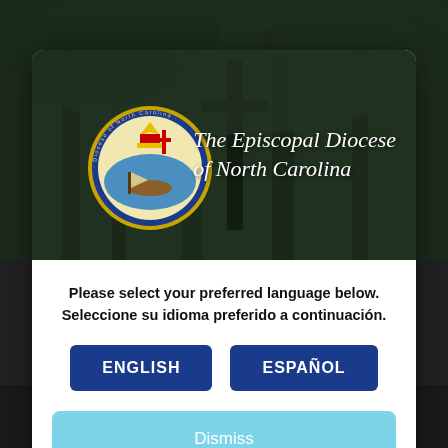[Figure (screenshot): A modal dialog box overlaid on a darkened forest background. The modal contains the logo and name of The Episcopal Diocese of North Carolina in the header image, followed by a language selection prompt in English and Spanish, two buttons (ENGLISH and ESPAÑOL), and a Dismiss button.]
Please select your preferred language below.
Seleccione su idioma preferido a continuación.
ENGLISH
ESPAÑOL
Dismiss